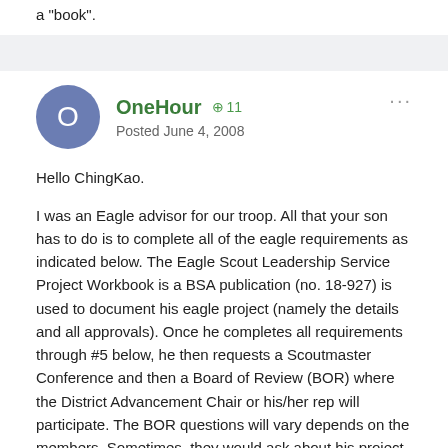a "book".
OneHour · +11 · Posted June 4, 2008
Hello ChingKao.
I was an Eagle advisor for our troop. All that your son has to do is to complete all of the eagle requirements as indicated below. The Eagle Scout Leadership Service Project Workbook is a BSA publication (no. 18-927) is used to document his eagle project (namely the details and all approvals). Once he completes all requirements through #5 below, he then requests a Scoutmaster Conference and then a Board of Review (BOR) where the District Advancement Chair or his/her rep will participate. The BOR questions will vary depends on the members. Sometimes, they would ask about his project, his scouting experience, his religious belief, his advice on how to better the processes, procedures, experiences for other scouts,